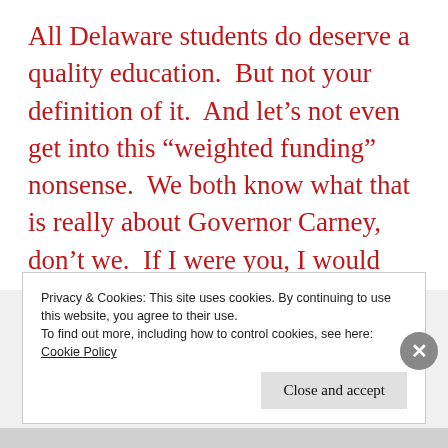All Delaware students do deserve a quality education.  But not your definition of it.  And let’s not even get into this “weighted funding” nonsense.  We both know what that is really about Governor Carney, don’t we.  If I were you, I would give considerable thought in the next week to revising your proposed budget.  Because if you truly care about
Privacy & Cookies: This site uses cookies. By continuing to use this website, you agree to their use.
To find out more, including how to control cookies, see here: Cookie Policy